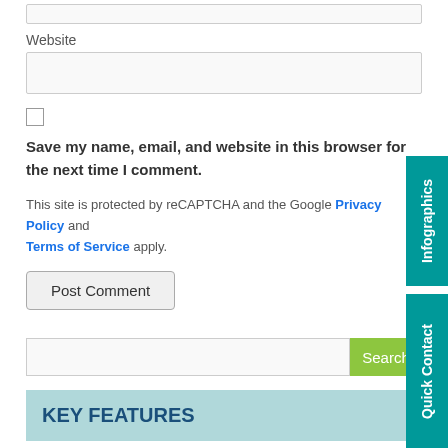Website
Save my name, email, and website in this browser for the next time I comment.
This site is protected by reCAPTCHA and the Google Privacy Policy and Terms of Service apply.
Post Comment
Search
KEY FEATURES
3 Levels of Quality Assurance
Infographics
Quick Contact